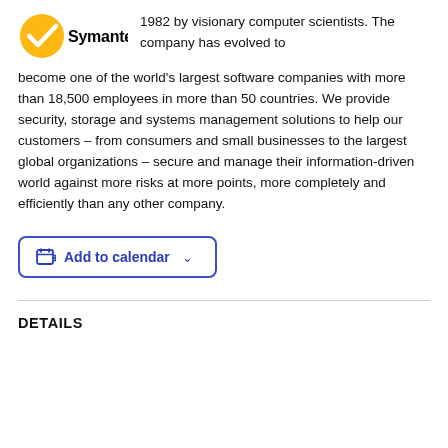[Figure (logo): Symantec logo with yellow checkmark circle and black Symantec wordmark]
1982 by visionary computer scientists. The company has evolved to become one of the world's largest software companies with more than 18,500 employees in more than 50 countries. We provide security, storage and systems management solutions to help our customers – from consumers and small businesses to the largest global organizations – secure and manage their information-driven world against more risks at more points, more completely and efficiently than any other company.
[Figure (other): Add to calendar button with calendar icon and dropdown chevron]
DETAILS